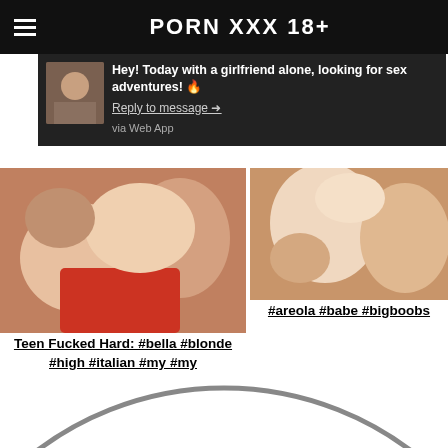PORN XXX 18+
Hey! Today with a girlfriend alone, looking for sex adventures! 🔥
Reply to message →
via Web App
[Figure (photo): Thumbnail image on left side of grid - explicit adult content]
Teen Fucked Hard: #bella #blonde #high #italian #my #my
[Figure (photo): Thumbnail image on right side of grid - explicit adult content]
#areola #babe #bigboobs
[Figure (other): Partial circle/arc shape at bottom of page]